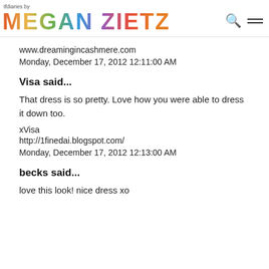tfdiaries by MEGAN ZIETZ
www.dreamingincashmere.com
Monday, December 17, 2012 12:11:00 AM
Visa said...
That dress is so pretty. Love how you were able to dress it down too.
xVisa
http://1finedai.blogspot.com/
Monday, December 17, 2012 12:13:00 AM
becks said...
love this look! nice dress xo